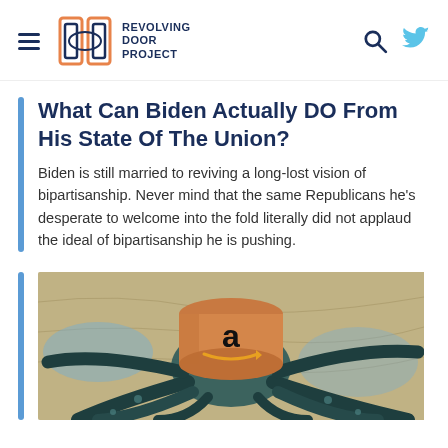REVOLVING DOOR PROJECT
What Can Biden Actually DO From His State Of The Union?
Biden is still married to reviving a long-lost vision of bipartisanship. Never mind that the same Republicans he's desperate to welcome into the fold literally did not applaud the ideal of bipartisanship he is pushing.
[Figure (photo): An illustration of an octopus with an Amazon logo cylinder/hat on top, spread across a map background — representing corporate monopoly power.]